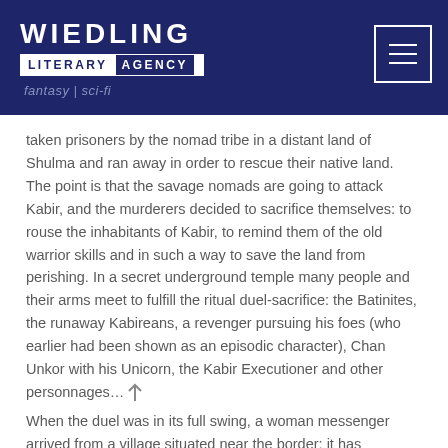WIEDLING LITERARY AGENCY fantasy | sci-fi
taken prisoners by the nomad tribe in a distant land of Shulma and ran away in order to rescue their native land. The point is that the savage nomads are going to attack Kabir, and the murderers decided to sacrifice themselves: to rouse the inhabitants of Kabir, to remind them of the old warrior skills and in such a way to save the land from perishing. In a secret underground temple many people and their arms meet to fulfill the ritual duel-sacrifice: the Batinites, the runaway Kabireans, a revenger pursuing his foes (who earlier had been shown as an episodic character), Chan Unkor with his Unicorn, the Kabir Executioner and other personnages...
When the duel was in its full swing, a woman messenger arrived from a village situated near the border: it has